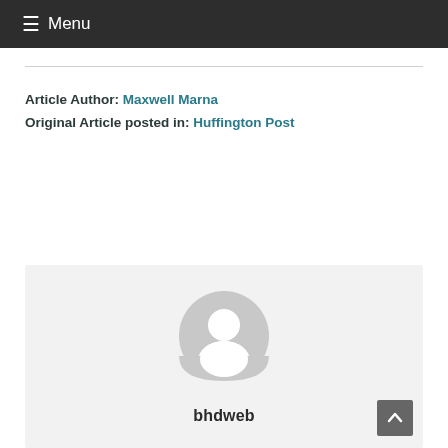≡ Menu
Article Author: Maxwell Marna
Original Article posted in: Huffington Post
[Figure (illustration): Default user avatar placeholder — grey circle with white silhouette of a person (head and shoulders)]
bhdweb